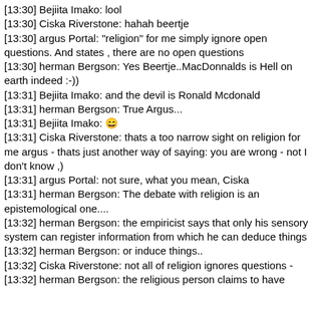[13:30] Bejiita Imako: lool
[13:30] Ciska Riverstone: hahah beertje
[13:30] argus Portal: "religion" for me simply ignore open questions. And states , there are no open questions
[13:30] herman Bergson: Yes Beertje..MacDonnalds is Hell on earth indeed :-))
[13:31] Bejiita Imako: and the devil is Ronald Mcdonald
[13:31] herman Bergson: True Argus...
[13:31] Bejiita Imako: 😄
[13:31] Ciska Riverstone: thats a too narrow sight on religion for me argus - thats just another way of saying: you are wrong - not I don't know ,)
[13:31] argus Portal: not sure, what you mean, Ciska
[13:31] herman Bergson: The debate with religion is an epistemological one....
[13:32] herman Bergson: the empiricist says that only his sensory system can register information from which he can deduce things
[13:32] herman Bergson: or induce things..
[13:32] Ciska Riverstone: not all of religion ignores questions -
[13:32] herman Bergson: the religious person claims to have